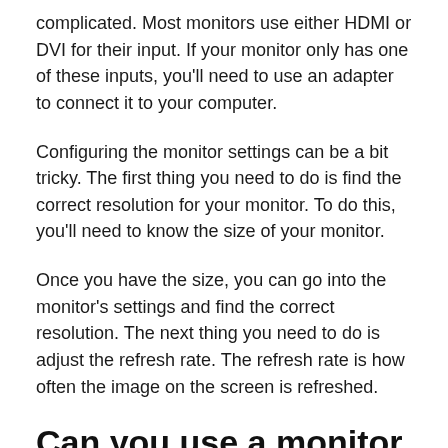complicated. Most monitors use either HDMI or DVI for their input. If your monitor only has one of these inputs, you'll need to use an adapter to connect it to your computer.
Configuring the monitor settings can be a bit tricky. The first thing you need to do is find the correct resolution for your monitor. To do this, you'll need to know the size of your monitor.
Once you have the size, you can go into the monitor's settings and find the correct resolution. The next thing you need to do is adjust the refresh rate. The refresh rate is how often the image on the screen is refreshed.
Can you use a monitor without a laptop